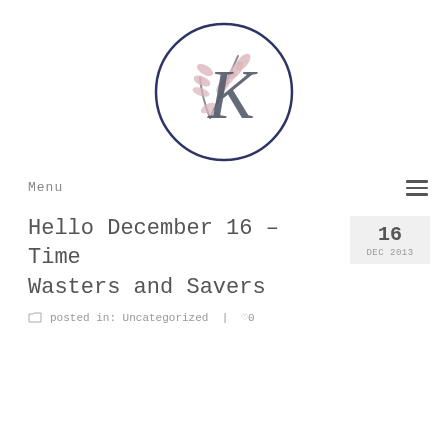[Figure (logo): Circular logo with a dark navy outline circle containing a stylized letter K with pink/mauve botanical leaf branches overlaid on it]
Menu
Hello December 16 – Time Wasters and Savers
16
DEC 2013
posted in: Uncategorized | 0